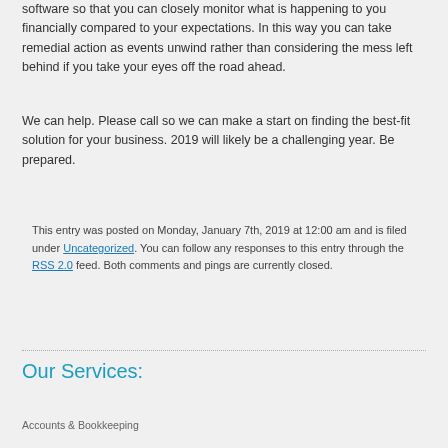software so that you can closely monitor what is happening to you financially compared to your expectations. In this way you can take remedial action as events unwind rather than considering the mess left behind if you take your eyes off the road ahead.
We can help. Please call so we can make a start on finding the best-fit solution for your business. 2019 will likely be a challenging year. Be prepared.
This entry was posted on Monday, January 7th, 2019 at 12:00 am and is filed under Uncategorized. You can follow any responses to this entry through the RSS 2.0 feed. Both comments and pings are currently closed.
Our Services:
Accounts & Bookkeeping